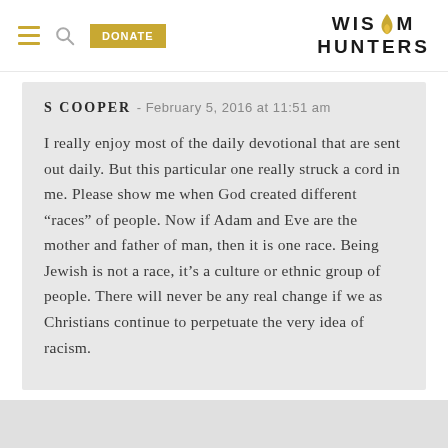DONATE | WISDOM HUNTERS
S COOPER - February 5, 2016 at 11:51 am
I really enjoy most of the daily devotional that are sent out daily. But this particular one really struck a cord in me. Please show me when God created different “races” of people. Now if Adam and Eve are the mother and father of man, then it is one race. Being Jewish is not a race, it’s a culture or ethnic group of people. There will never be any real change if we as Christians continue to perpetuate the very idea of racism.